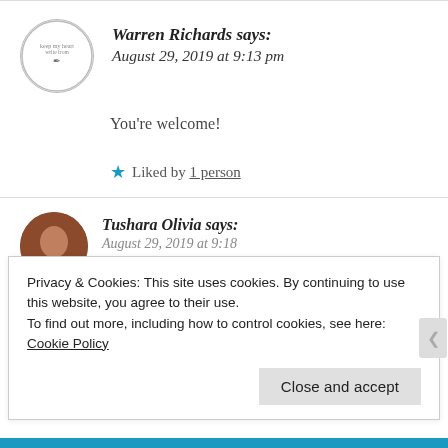Warren Richards says: August 29, 2019 at 9:13 pm
You're welcome!
★ Liked by 1 person
Tushara Olivia says:
Privacy & Cookies: This site uses cookies. By continuing to use this website, you agree to their use.
To find out more, including how to control cookies, see here: Cookie Policy
Close and accept